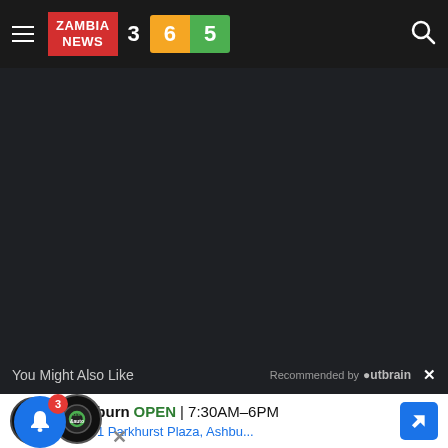Zambia News 365
[Figure (screenshot): Dark content area placeholder]
You Might Also Like
Recommended by Outbrain
[Figure (infographic): Advertisement card: Ashburn OPEN 7:30AM-6PM, 43781 Parkhurst Plaza, Ashbu...]